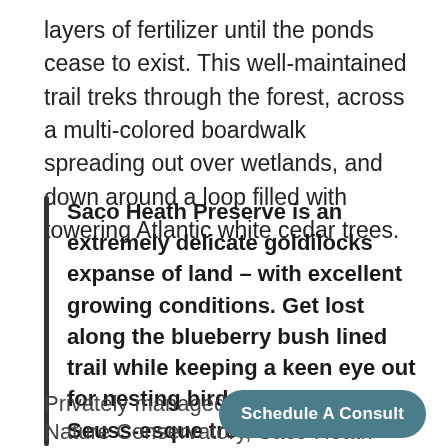layers of fertilizer until the ponds cease to exist. This well-maintained trail treks through the forest, across a multi-colored boardwalk spreading out over wetlands, and down around a loop filled with towering Atlantic white cedar trees.
Saco Heath Preserve is an extremely delicate goldilocks expanse of land – with excellent growing conditions. Get lost along the blueberry bush lined trail while keeping a keen eye out for nesting birds of prey in the Dr. Seuss-esque trees.
Privately managed by the wo... Nature Conservatory, Saco Heath provides free